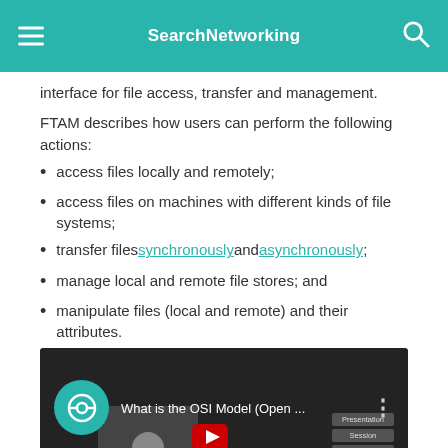SearchNetworking
interface for file access, transfer and management.
FTAM describes how users can perform the following actions:
access files locally and remotely;
access files on machines with different kinds of file systems;
transfer files synchronously and asynchronously;
manage local and remote file stores; and
manipulate files (local and remote) and their attributes.
[Figure (screenshot): YouTube video thumbnail for 'What is the OSI Model (Open ...' showing a presenter with OSI model layer boxes (Presentation, Session, Transport) visible on the right side.]